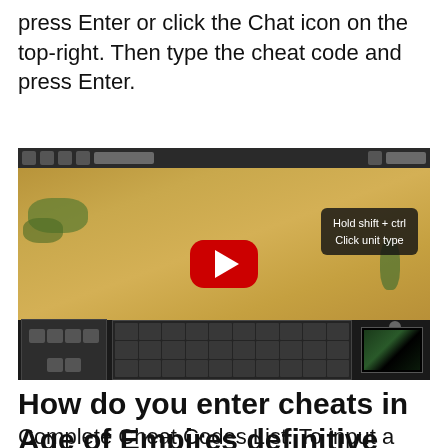press Enter or click the Chat icon on the top-right. Then type the cheat code and press Enter.
[Figure (screenshot): A YouTube-style video thumbnail showing an Age of Empires game screenshot with a play button overlay. The game scene shows a top-down terrain view with units, a HUD at the bottom, and a tooltip reading 'Hold shift + ctrl / Click unit type' in the top-right area.]
How do you enter cheats in Age of Empires definitive edition?
Complete Cheat Codes List. To input a cheat